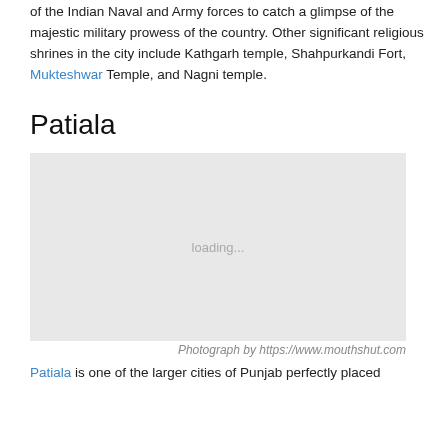of the Indian Naval and Army forces to catch a glimpse of the majestic military prowess of the country. Other significant religious shrines in the city include Kathgarh temple, Shahpurkandi Fort, Mukteshwar Temple, and Nagni temple.
Patiala
[Figure (photo): Loading placeholder image for Patiala, grey rectangle with 'loading...' text in center]
Photograph by https://www.mouthshut.com
Patiala is one of the larger cities of Punjab perfectly placed